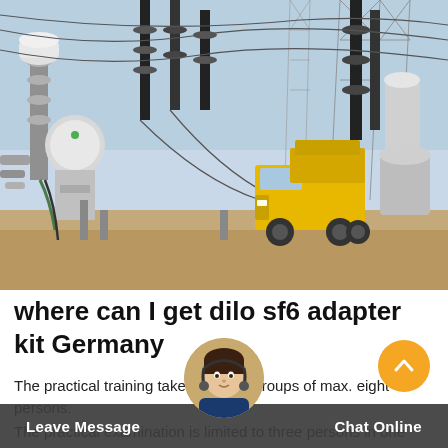[Figure (photo): Photograph of an electrical substation with high-voltage equipment, insulators, transformers, and a yellow utility truck parked inside the substation yard.]
where can I get dilo sf6 adapter kit Germany
The practical training takes place in groups of max. eight persons. The practical examination is limited to three persons in one group. After successful examination each participant will receive a